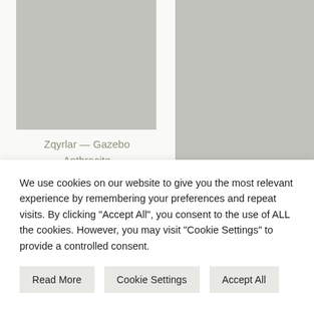[Figure (photo): Gray placeholder product image on the left side]
Zqyrlar — Gazebo Anthracite
[Figure (photo): Gray placeholder product image on the right side]
Perle Raregb — Departed Parcel
We use cookies on our website to give you the most relevant experience by remembering your preferences and repeat visits. By clicking "Accept All", you consent to the use of ALL the cookies. However, you may visit "Cookie Settings" to provide a controlled consent.
Read More
Cookie Settings
Accept All